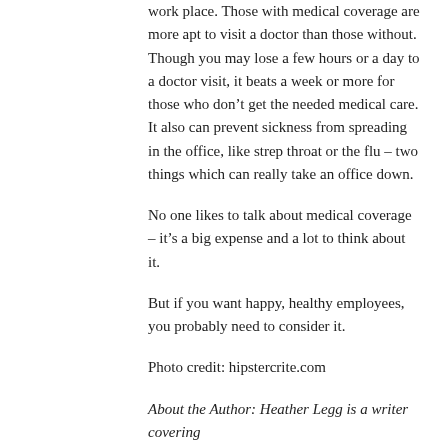work place. Those with medical coverage are more apt to visit a doctor than those without. Though you may lose a few hours or a day to a doctor visit, it beats a week or more for those who don't get the needed medical care. It also can prevent sickness from spreading in the office, like strep throat or the flu – two things which can really take an office down.
No one likes to talk about medical coverage – it's a big expense and a lot to think about it.
But if you want happy, healthy employees, you probably need to consider it.
Photo credit: hipstercrite.com
About the Author: Heather Legg is a writer covering